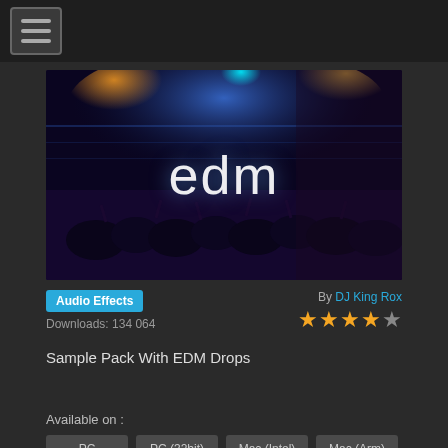[Figure (screenshot): Hamburger menu button icon in top navigation bar]
[Figure (photo): EDM concert photo with colorful stage lights, crowd, and 'edm' text overlay in white]
Audio Effects
Downloads: 134 064
By DJ King Rox
★★★★☆ (4 out of 5 stars)
Sample Pack With EDM Drops
Available on :
PC
PC (32bit)
Mac (Intel)
Mac (Arm)